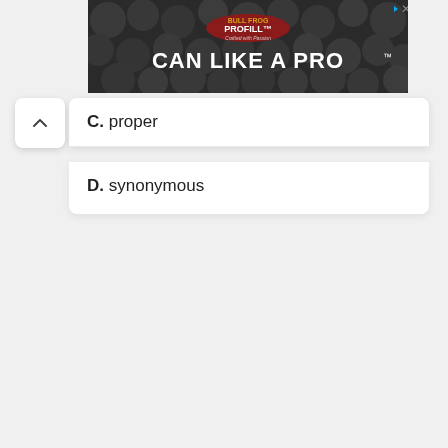[Figure (screenshot): Advertisement banner for PROFILL 'CAN LIKE A PRO' product, showing beer cans in background with red badge logo, white bold text on dark background.]
C. proper
D. synonymous